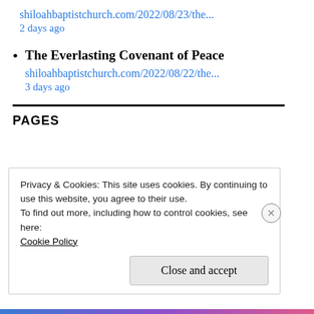shiloahbaptistchurch.com/2022/08/23/the...
2 days ago
The Everlasting Covenant of Peace
shiloahbaptistchurch.com/2022/08/22/the...
3 days ago
PAGES
Privacy & Cookies: This site uses cookies. By continuing to use this website, you agree to their use.
To find out more, including how to control cookies, see here:
Cookie Policy
Close and accept